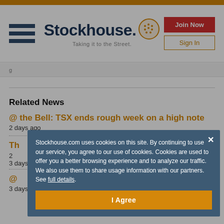[Figure (logo): Stockhouse logo with hamburger menu, tagline 'Taking it to the Street.', Join Now and Sign In buttons]
g
Related News
@ the Bell: TSX ends rough week on a high note
2 days ago
The Market Herald: Weekly Search Reports, Sept 2...
3 days ago
@...
3 days ago
Stockhouse.com uses cookies on this site. By continuing to use our service, you agree to our use of cookies. Cookies are used to offer you a better browsing experience and to analyze our traffic. We also use them to share usage information with our partners. See full details.
I Agree